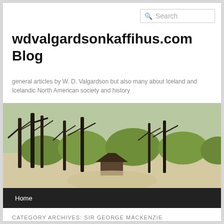wdvalgardsonkaffihus.com Blog
general articles by W. D. Valgardson but also many about Iceland and Icelandic North American society and history
[Figure (photo): Outdoor scene showing sandy path with dark twisted trees and green shrubs in background, with a small wooden structure visible.]
CATEGORY ARCHIVES: SIR GEORGE MACKENZIE